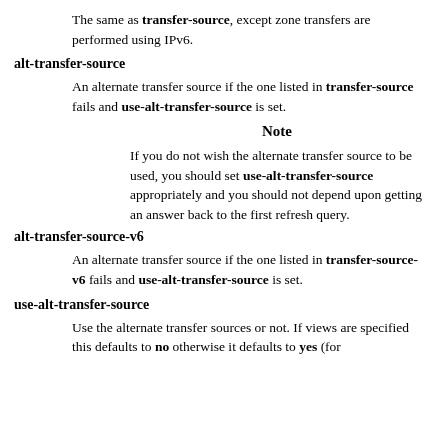The same as transfer-source, except zone transfers are performed using IPv6.
alt-transfer-source
An alternate transfer source if the one listed in transfer-source fails and use-alt-transfer-source is set.
Note
If you do not wish the alternate transfer source to be used, you should set use-alt-transfer-source appropriately and you should not depend upon getting an answer back to the first refresh query.
alt-transfer-source-v6
An alternate transfer source if the one listed in transfer-source-v6 fails and use-alt-transfer-source is set.
use-alt-transfer-source
Use the alternate transfer sources or not. If views are specified this defaults to no otherwise it defaults to yes (for